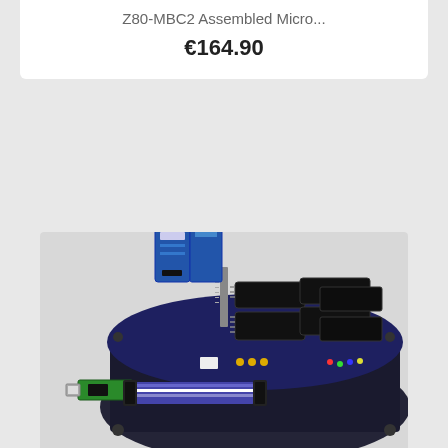Z80-MBC2 Assembled Micro...
€164.90
[Figure (photo): V20-MBC Black Edition assembled microcomputer board with multiple large DIP chips, SD card module, USB-to-serial adapter, and ribbon cable]
V20-MBC Black Edition
€108.90